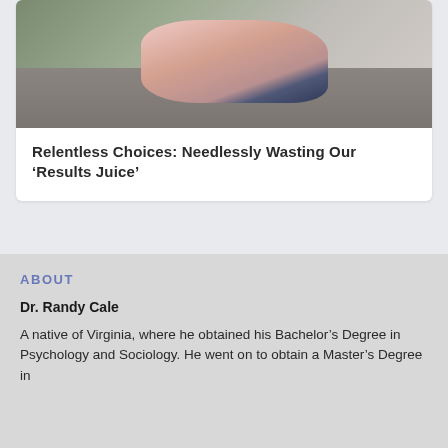[Figure (photo): Woman lying on a couch/sofa, resting or sleeping, with books and a coffee mug on the table in front of her. Pink sweater, dark jeans. Indoor setting with pillows.]
Relentless Choices: Needlessly Wasting Our ‘Results Juice’
ABOUT
Dr. Randy Cale
A native of Virginia, where he obtained his Bachelor’s Degree in Psychology and Sociology. He went on to obtain a Master’s Degree in